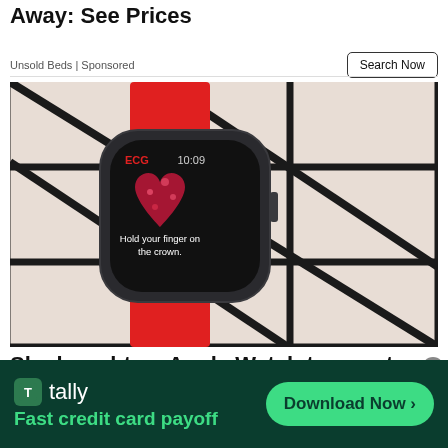Away: See Prices
Unsold Beds | Sponsored
Search Now
[Figure (photo): Apple Watch with ECG heart display showing 'Hold your finger on the crown.' text, placed on a tiled surface with red band visible.]
She bought an Apple Watch to count steps it found a heart tumor instead
tally Fast credit card payoff — Download Now